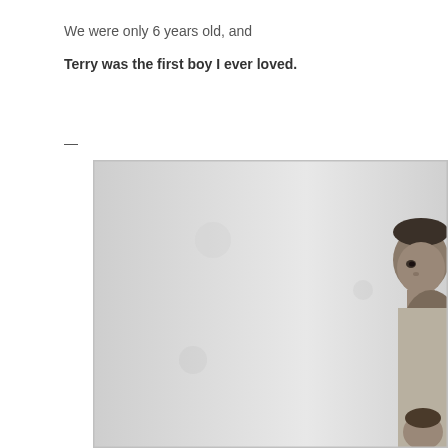We were only 6 years old, and
Terry was the first boy I ever loved.
—
[Figure (photo): A black and white photograph showing a young boy's face and upper body, partially visible on the right side of the image. The photo has a light grey background typical of a school portrait.]